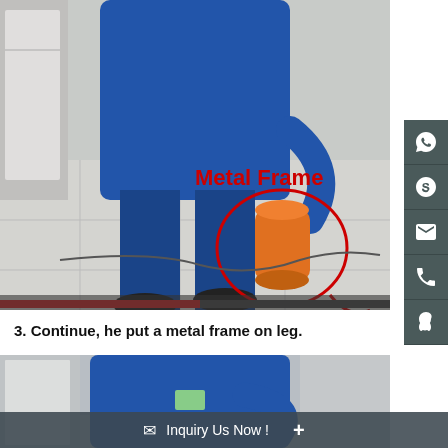[Figure (screenshot): Video screenshot of a person in blue workwear holding an orange metal frame component near their leg. A red circle annotation highlights the orange metal frame, and red text reads 'Metal Frame'. A red progress bar is visible at the bottom of the video frame.]
3. Continue, he put a metal frame on leg.
[Figure (screenshot): Video screenshot showing the upper body of a person in blue workwear, partially visible, against a light corridor background.]
Inquiry Us Now !